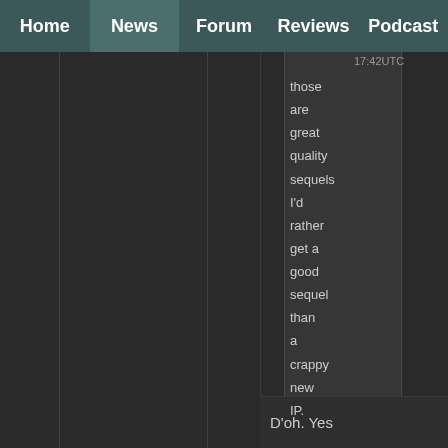Home | News | Forum | Reviews | Podcast
17:42UTC
those are great quality sequels I'd rather get a good sequel than a crappy new IP.
D'oh. Yes